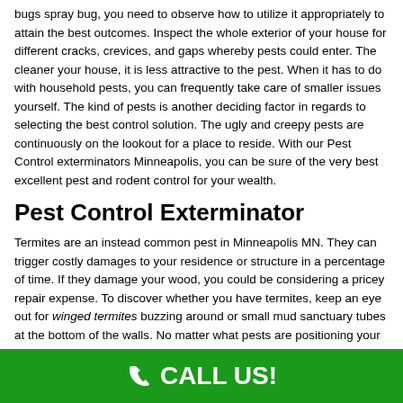bugs spray bug, you need to observe how to utilize it appropriately to attain the best outcomes. Inspect the whole exterior of your house for different cracks, crevices, and gaps whereby pests could enter. The cleaner your house, it is less attractive to the pest. When it has to do with household pests, you can frequently take care of smaller issues yourself. The kind of pests is another deciding factor in regards to selecting the best control solution. The ugly and creepy pests are continuously on the lookout for a place to reside. With our Pest Control exterminators Minneapolis, you can be sure of the very best excellent pest and rodent control for your wealth.
Pest Control Exterminator
Termites are an instead common pest in Minneapolis MN. They can trigger costly damages to your residence or structure in a percentage of time. If they damage your wood, you could be considering a pricey repair expense. To discover whether you have termites, keep an eye out for winged termites buzzing around or small mud sanctuary tubes at the bottom of the walls. No matter what pests are positioning your assurance in jeopardy, our
CALL US!